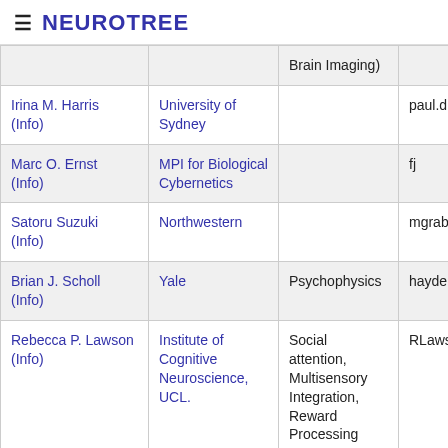≡ NEUROTREE
| Name | Institution | Area | Contact |
| --- | --- | --- | --- |
|  |  | (Brain Imaging) |  |
| Irina M. Harris (Info) | University of Sydney |  | paul.d... |
| Marc O. Ernst (Info) | MPI for Biological Cybernetics |  | fj |
| Satoru Suzuki (Info) | Northwestern |  | mgrab... |
| Brian J. Scholl (Info) | Yale | Psychophysics | hayde... |
| Rebecca P. Lawson (Info) | Institute of Cognitive Neuroscience, UCL. | Social attention, Multisensory Integration, Reward Processing | RLaws... |
| Andrew M. ... | Rochester | Visual System, Attention, | amhe... |